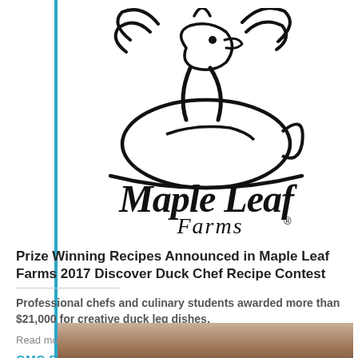[Figure (logo): Maple Leaf Farms logo — stylized duck silhouette above the text 'Maple Leaf Farms' with a registered trademark symbol]
Prize Winning Recipes Announced in Maple Leaf Farms 2017 Discover Duck Chef Recipe Contest
Professional chefs and culinary students awarded more than $21,000 for creative duck leg dishes.
Read more...
GMC Breaking News
[Figure (photo): Partial photo of a person, cropped at bottom of page]